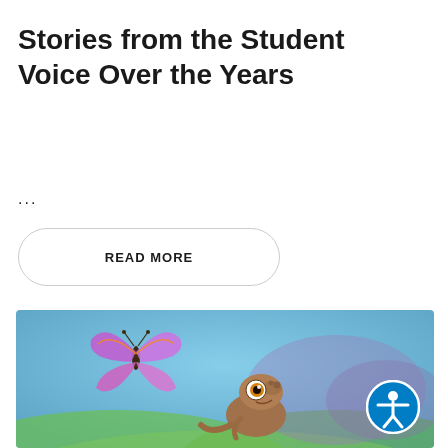Stories from the Student Voice Over the Years
...
READ MORE
[Figure (illustration): Animated illustration showing a colorful monarch butterfly on the left and a small brown cartoon dinosaur/lizard creature looking up, set against a blurred blue and green background. A circular accessibility icon (person with arms outstretched in a circle) is overlaid in the bottom right corner.]